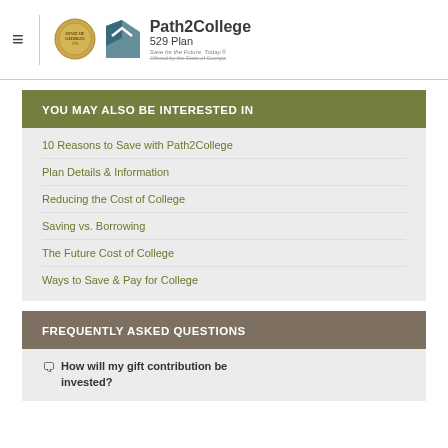Path2College 529 Plan — Save for the Future. Today. Offered by the State of Georgia.
YOU MAY ALSO BE INTERESTED IN
10 Reasons to Save with Path2College
Plan Details & Information
Reducing the Cost of College
Saving vs. Borrowing
The Future Cost of College
Ways to Save & Pay for College
FREQUENTLY ASKED QUESTIONS
How will my gift contribution be invested?